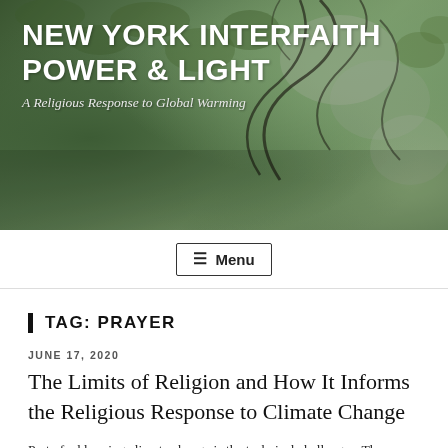[Figure (photo): Header banner with green leafy tree canopy background, dark greens and grays]
NEW YORK INTERFAITH POWER & LIGHT
A Religious Response to Global Warming
≡ Menu
TAG: PRAYER
JUNE 17, 2020
The Limits of Religion and How It Informs the Religious Response to Climate Change
Part of addressing climate change is the technical challenges. The methods of science and engineering have proven themselves to be far more capable in